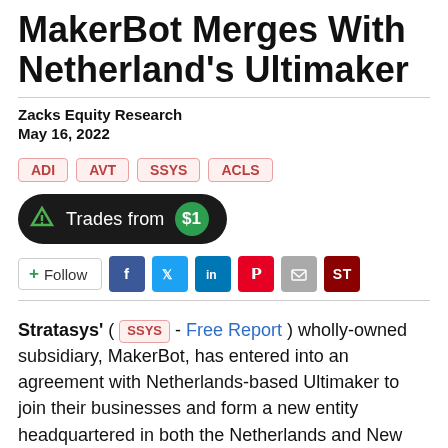MakerBot Merges With Netherland's Ultimaker
Zacks Equity Research
May 16, 2022
ADI
AVT
SSYS
ACLS
[Figure (other): Trades from $1 button with share icon]
[Figure (other): Social sharing buttons: Follow, Facebook, Twitter, LinkedIn, Pinterest, Email, ST]
Stratasys' ( SSYS - Free Report ) wholly-owned subsidiary, MakerBot, has entered into an agreement with Netherlands-based Ultimaker to join their businesses and form a new entity headquartered in both the Netherlands and New York for the global advancement of additive